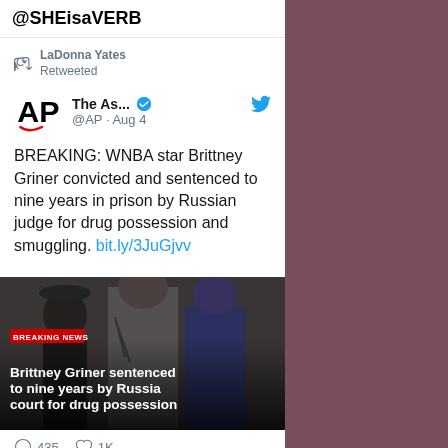@SHEisaVERB
LaDonna Yates Retweeted
The As... @AP · Aug 4
BREAKING: WNBA star Brittney Griner convicted and sentenced to nine years in prison by Russian judge for drug possession and smuggling. bit.ly/3JuGjvv
[Figure (photo): News image showing people with text overlay 'BREAKING NEWS' and headline 'Brittney Griner sentenced to nine years by Russia court for drug possession']
435   1K